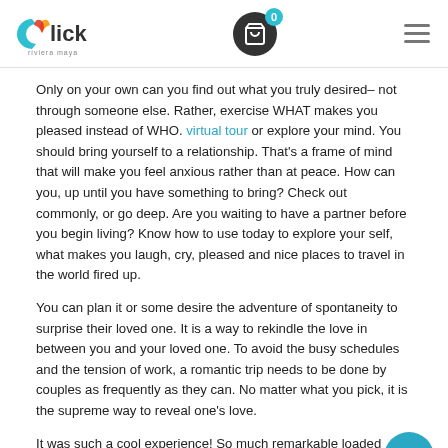Click Riviera Maya logo, cart icon with badge 0, hamburger menu
Only on your own can you find out what you truly desired– not through someone else. Rather, exercise WHAT makes you pleased instead of WHO. virtual tour or explore your mind. You should bring yourself to a relationship. That's a frame of mind that will make you feel anxious rather than at peace. How can you, up until you have something to bring? Check out commonly, or go deep. Are you waiting to have a partner before you begin living? Know how to use today to explore your self, what makes you laugh, cry, pleased and nice places to travel in the world fired up.
You can plan it or some desire the adventure of spontaneity to surprise their loved one. It is a way to rekindle the love in between you and your loved one. To avoid the busy schedules and the tension of work, a romantic trip needs to be done by couples as frequently as they can. No matter what you pick, it is the supreme way to reveal one's love.
It was such a cool experience! So much remarkable loaded